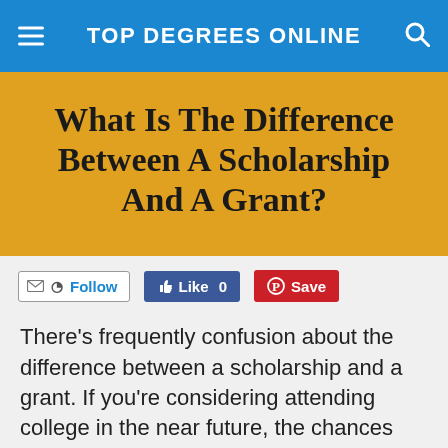TOP DEGREES ONLINE
What Is The Difference Between A Scholarship And A Grant?
Follow   Like 0   Save
There’s frequently confusion about the difference between a scholarship and a grant. If you’re considering attending college in the near future, the chances are excellent that you’ve investigated ways to finance your venture. Both grants and scholarships are ways individuals can achieve their academic goals